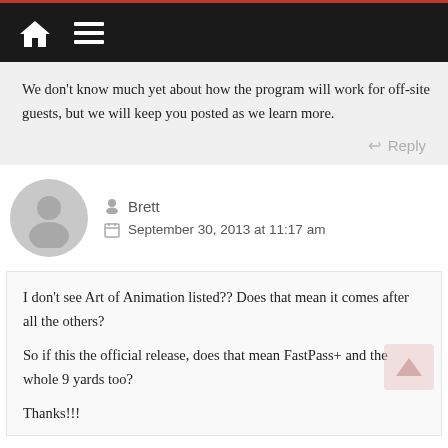Navigation bar with home and menu icons
We don't know much yet about how the program will work for off-site guests, but we will keep you posted as we learn more.
Reply
Brett
September 30, 2013 at 11:17 am
I don't see Art of Animation listed?? Does that mean it comes after all the others?

So if this the official release, does that mean FastPass+ and the whole 9 yards too?

Thanks!!!